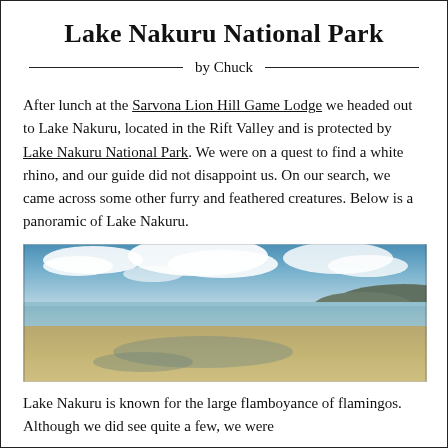Lake Nakuru National Park
by Chuck
After lunch at the Sarvona Lion Hill Game Lodge we headed out to Lake Nakuru, located in the Rift Valley and is protected by Lake Nakuru National Park. We were on a quest to find a white rhino, and our guide did not disappoint us. On our search, we came across some other furry and feathered creatures. Below is a panoramic of Lake Nakuru.
[Figure (photo): Panoramic photograph of Lake Nakuru showing a wide shoreline with sandy/muddy foreground, shallow water, and blue sky with white clouds above. Hills visible in the distance on the right side.]
Lake Nakuru is known for the large flamboyance of flamingos. Although we did see quite a few, we were